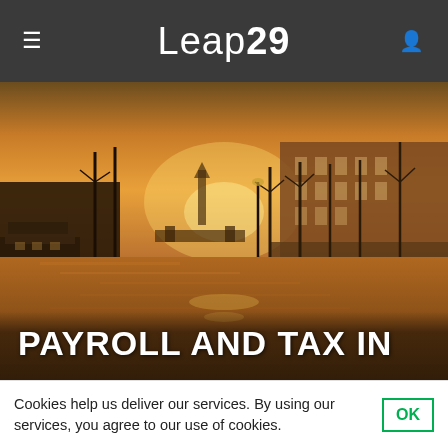Leap29
[Figure (photo): Amsterdam canal at golden hour sunset with houseboats on the left, historic red-brick buildings on the right, a bridge in the middle distance, and reflections on the water.]
PAYROLL AND TAX IN
Cookies help us deliver our services. By using our services, you agree to our use of cookies.